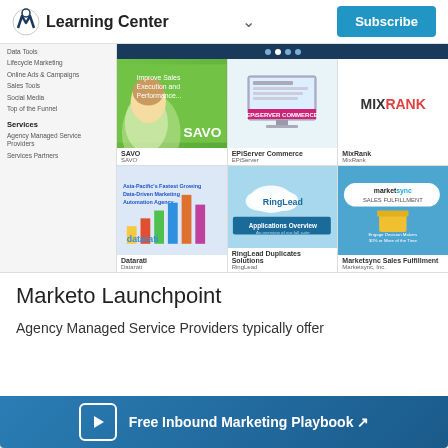Learning Center — Subscribe
[Figure (screenshot): Marketo Launchpoint product grid showing 6 partner app thumbnails: SAVO, EPiServer Commerce, MixRank, Datarati, RingLead Duplicates Solutions, Marketsync Sales Fulfillment. Left sidebar shows navigation links: Lifecycle Marketing, Online Ads & Campaigns, Sales Tools, Social Media, Top of the Funnel, Services, Agency Managed Service Providers, Services Partners.]
Marketo Launchpoint
Agency Managed Service Providers typically offer
Free Inbound Marketing Playbook ↗